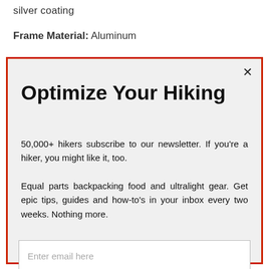silver coating
Frame Material: Aluminum
Optimize Your Hiking
50,000+ hikers subscribe to our newsletter. If you're a hiker, you might like it, too.
Equal parts backpacking food and ultralight gear. Get epic tips, guides and how-to's in your inbox every two weeks. Nothing more.
Enter email here
SUBSCRIBE